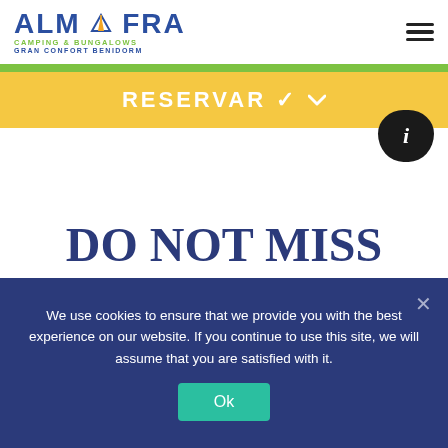ALMAFRA CAMPING & BUNGALOWS GRAN CONFORT BENIDORM
RESERVAR ✓
DO NOT MISS ANYTHING!
We use cookies to ensure that we provide you with the best experience on our website. If you continue to use this site, we will assume that you are satisfied with it.